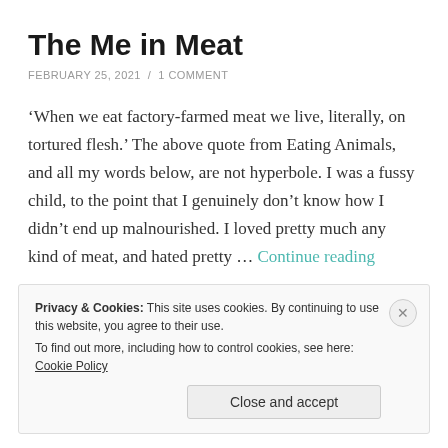The Me in Meat
FEBRUARY 25, 2021 / 1 COMMENT
‘When we eat factory-farmed meat we live, literally, on tortured flesh.’ The above quote from Eating Animals, and all my words below, are not hyperbole. I was a fussy child, to the point that I genuinely don’t know how I didn’t end up malnourished. I loved pretty much any kind of meat, and hated pretty … Continue reading
Privacy & Cookies: This site uses cookies. By continuing to use this website, you agree to their use.
To find out more, including how to control cookies, see here: Cookie Policy
Close and accept